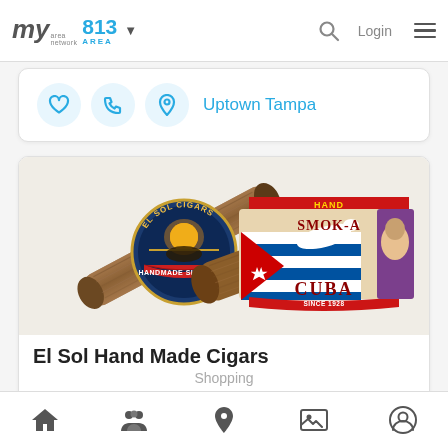my area network | 813 AREA | Login
Uptown Tampa
[Figure (logo): El Sol Hand Made Cigars and Smok-A Cuba cigar band logos]
El Sol Hand Made Cigars
Shopping
10549 North Florida Avenue, Suite L, Tampa FL, 33612
Enjoy a cigar from El Sol in North Tampa. From cigars to humidors, lighters, and more; El Sol's got it all.
Home | People | Location | Photos | Profile